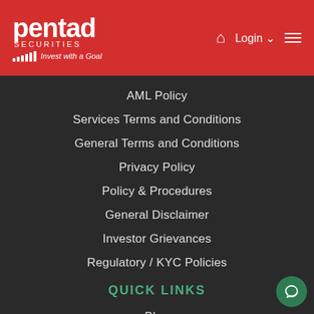pentad SECURITIES — Invest with a Goal | Login | Menu
AML Policy
Services Terms and Conditions
General Terms and Conditions
Privacy Policy
Policy & Procedures
General Disclaimer
Investor Grievances
Regulatory / KYC Policies
QUICK LINKS
Blog
Branch Login
Commodity
Downloads